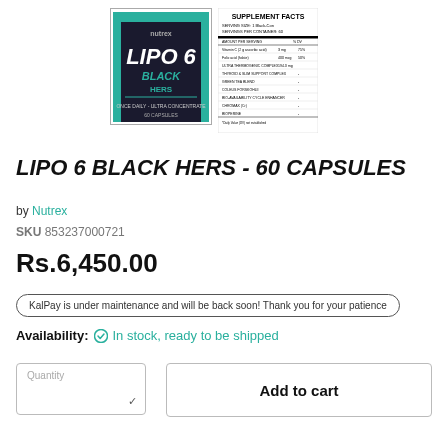[Figure (photo): Lipo 6 Black Hers product box image (teal/black packaging)]
[Figure (photo): Supplement Facts panel for Lipo 6 Black Hers]
LIPO 6 BLACK HERS - 60 CAPSULES
by Nutrex
SKU 853237000721
Rs.6,450.00
KalPay is under maintenance and will be back soon! Thank you for your patience
Availability: In stock, ready to be shipped
Quantity
Add to cart